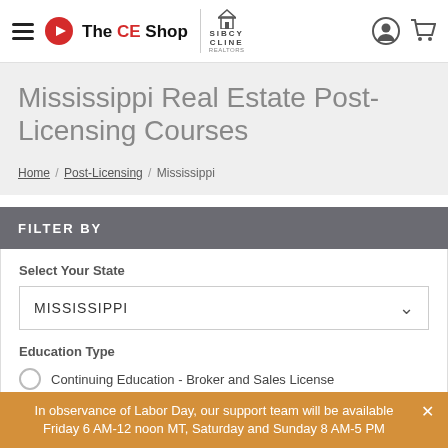The CE Shop | SIBCY CLINE
Mississippi Real Estate Post-Licensing Courses
Home / Post-Licensing / Mississippi
FILTER BY
Select Your State
MISSISSIPPI
Education Type
Continuing Education - Broker and Sales License
Post-Licensing - Salesperson
In observance of Labor Day, our support team will be available Friday 6 AM-12 noon MT, Saturday and Sunday 8 AM-5 PM